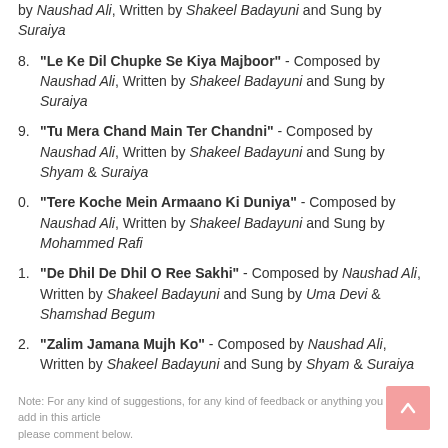by Naushad Ali, Written by Shakeel Badayuni and Sung by Suraiya
8. "Le Ke Dil Chupke Se Kiya Majboor" - Composed by Naushad Ali, Written by Shakeel Badayuni and Sung by Suraiya
9. "Tu Mera Chand Main Ter Chandni" - Composed by Naushad Ali, Written by Shakeel Badayuni and Sung by Shyam & Suraiya
0. "Tere Koche Mein Armaano Ki Duniya" - Composed by Naushad Ali, Written by Shakeel Badayuni and Sung by Mohammed Rafi
1. "De Dhil De Dhil O Ree Sakhi" - Composed by Naushad Ali, Written by Shakeel Badayuni and Sung by Uma Devi & Shamshad Begum
2. "Zalim Jamana Mujh Ko" - Composed by Naushad Ali, Written by Shakeel Badayuni and Sung by Shyam & Suraiya
Note: For any kind of suggestions, for any kind of feedback or anything you want to add in this article please comment below.